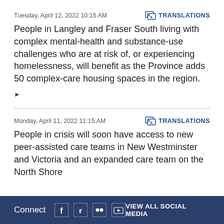Tuesday, April 12, 2022 10:15 AM
TRANSLATIONS
People in Langley and Fraser South living with complex mental-health and substance-use challenges who are at risk of, or experiencing homelessness, will benefit as the Province adds 50 complex-care housing spaces in the region.
▶
Monday, April 11, 2022 11:15 AM
TRANSLATIONS
People in crisis will soon have access to new peer-assisted care teams in New Westminster and Victoria and an expanded care team on the North Shore
Connect  VIEW ALL SOCIAL MEDIA